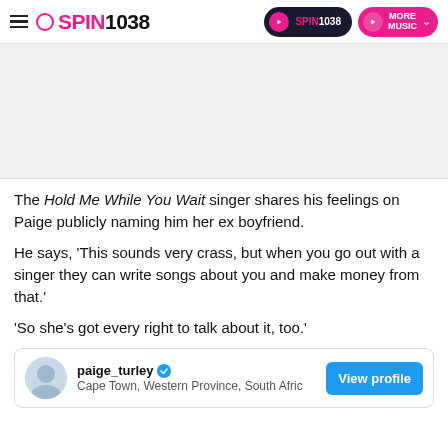SPIN1038 | SPIN1038 | MORE MUSIC
[Figure (photo): Light grey rectangular image placeholder area]
The Hold Me While You Wait singer shares his feelings on Paige publicly naming him her ex boyfriend.
He says, 'This sounds very crass, but when you go out with a singer they can write songs about you and make money from that.'
'So she's got every right to talk about it, too.'
[Figure (screenshot): paige_turley profile card showing avatar, username with verified badge, location: Cape Town, Western Province, South Africa, and a blue View profile button]